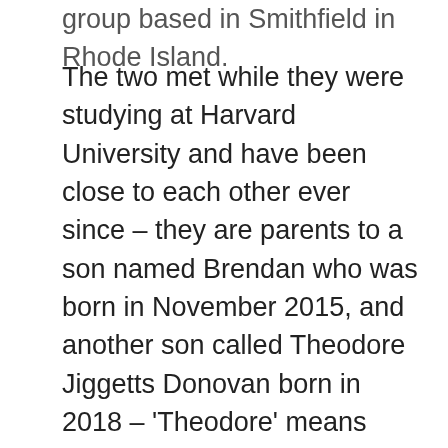group based in Smithfield in Rhode Island.
The two met while they were studying at Harvard University and have been close to each other ever since – they are parents to a son named Brendan who was born in November 2015, and another son called Theodore Jiggetts Donovan born in 2018 – 'Theodore' means 'Gift of God'. Both Lauren and Patrick are keeping their personal lives to themselves, and are not sharing much about their life together with the public. They are currently living in Sheffield Neighbors in Chicago, Illinois in a house which is estimated to be worth around $3.6